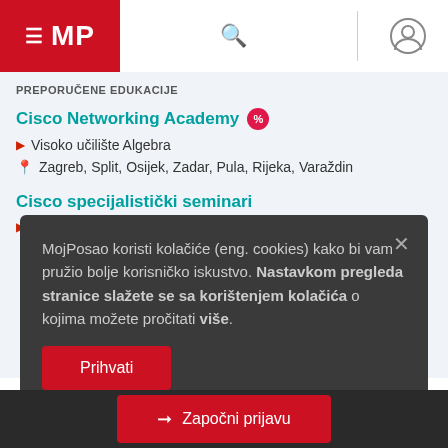MP
PREPORUČENE EDUKACIJE
Cisco Networking Academy
Visoko učilište Algebra
Zagreb, Split, Osijek, Zadar, Pula, Rijeka, Varaždin
Cisco specijalistički seminari
Visoko učilište Algebra
MojPosao koristi kolačiće (eng. cookies) kako bi vam pružio bolje korisničko iskustvo. Nastavkom pregleda stranice slažete se sa korištenjem kolačića o kojima možete pročitati više.
Prihvati
Započni prijavu